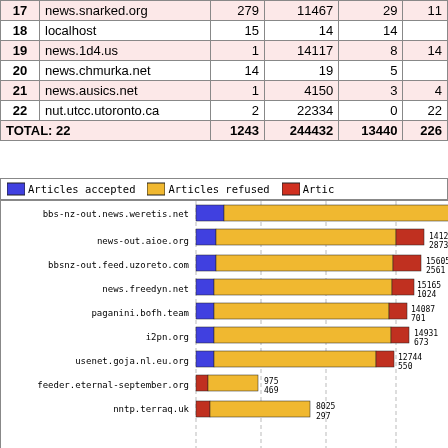| # | Server | Col3 | Col4 | Col5 | Col6 |
| --- | --- | --- | --- | --- | --- |
| 17 | news.snarked.org | 279 | 11467 | 29 | 11 |
| 18 | localhost | 15 | 14 | 14 |  |
| 19 | news.1d4.us | 1 | 14117 | 8 | 14 |
| 20 | news.chmurka.net | 14 | 19 | 5 |  |
| 21 | news.ausics.net | 1 | 4150 | 3 | 4 |
| 22 | nut.utcc.utoronto.ca | 2 | 22334 | 0 | 22 |
| TOTAL: 22 |  | 1243 | 244432 | 13440 | 226 |
[Figure (bar-chart): Articles accepted / refused / other by server]